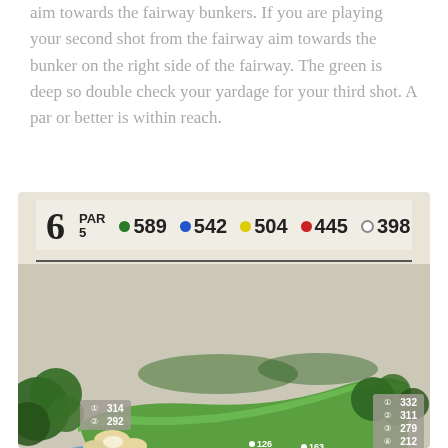aim towards the fairway bunkers. If you are playing your second shot from the fairway aim towards the bunker on the right side of the fairway. The green is deep so double check your yardage for your third shot. A par or better is within reach.
[Figure (illustration): Golf course hole diagram for Hole 6, Par 5 with tee distances: green 589, blue 542, yellow 504, red 445, white 398. Aerial view of the hole with fairway, bunkers, water hazard, trees, and yardage markers overlaid on a 3D course map. Includes scorecard tables showing distances by segment.]